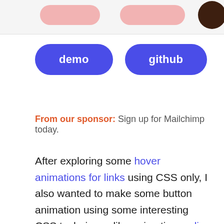[Figure (screenshot): Top banner/header area with pink/salmon button shapes and a dark brown circular avatar on the right]
[Figure (other): Two blue rounded pill-shaped buttons labeled 'demo' and 'github']
From our sponsor: Sign up for Mailchimp today.
After exploring some hover animations for links using CSS only, I also wanted to make some button animation using some interesting CSS techniques like animating a clip path or applying a mix-blend-mode.